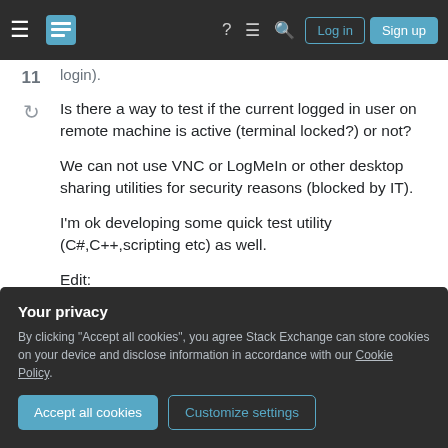Stack Exchange navigation bar with logo, help, chat, search, Log in, Sign up
login).
Is there a way to test if the current logged in user on remote machine is active (terminal locked?) or not?
We can not use VNC or LogMeIn or other desktop sharing utilities for security reasons (blocked by IT).
I'm ok developing some quick test utility (C#,C++,scripting etc) as well.
Edit:
Your privacy
By clicking "Accept all cookies", you agree Stack Exchange can store cookies on your device and disclose information in accordance with our Cookie Policy.
Accept all cookies  Customize settings